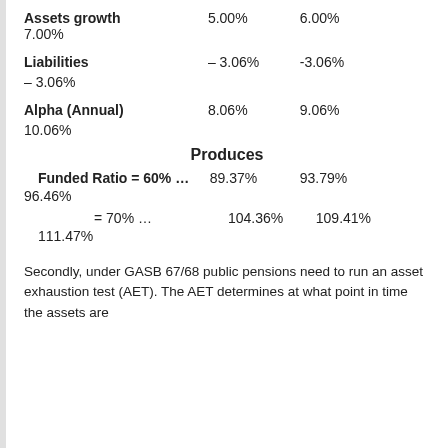|  | 5.00% | 6.00% | 7.00% |
| --- | --- | --- | --- |
| Assets growth | 5.00% | 6.00% | 7.00% |
| Liabilities | – 3.06% | -3.06% | – 3.06% |
| Alpha (Annual) | 8.06% | 9.06% | 10.06% |
Produces
|  | 89.37% | 93.79% | 96.46% |
| --- | --- | --- | --- |
| Funded Ratio = 60% … | 89.37% | 93.79% | 96.46% |
| = 70% … | 104.36% | 109.41% | 111.47% |
Secondly, under GASB 67/68 public pensions need to run an asset exhaustion test (AET). The AET determines at what point in time the assets are